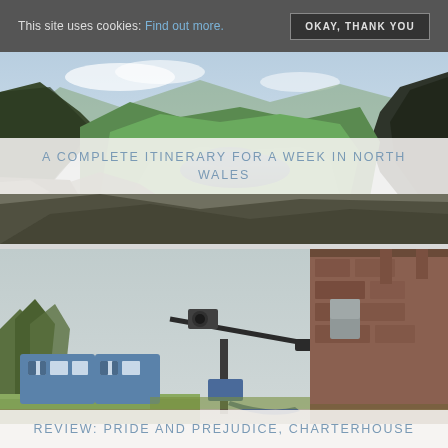This site uses cookies: Find out more. OKAY, THANK YOU
[Figure (photo): Panoramic mountain valley view in North Wales with a lake below and green hillsides under a partly cloudy sky]
A COMPLETE ITINERARY FOR A WEEK IN NORTH WALES
[Figure (photo): Film set outdoor scene with a camera crane/dolly, blue temporary structures, and a historic stone building on the right under overcast sky]
REVIEW: PRIDE AND PREJUDICE, CHARTERHOUSE